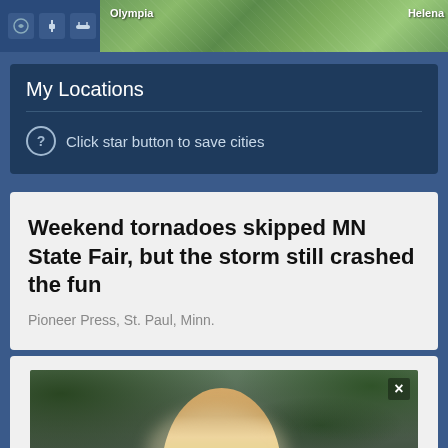[Figure (screenshot): Map strip with weather icons and a satellite map thumbnail showing Olympia and Helena city labels]
My Locations
Click star button to save cities
Weekend tornadoes skipped MN State Fair, but the storm still crashed the fun
Pioneer Press, St. Paul, Minn.
[Figure (photo): Photo of a woman with blonde hair wearing a yellow top, seated outdoors on patio furniture with blue cushions and plants in the background]